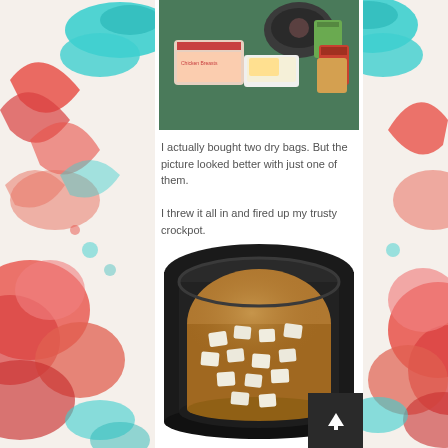[Figure (photo): Cooking ingredients laid out on a green countertop: chicken breast package, butter dish, canned goods including Campbell's soup, and a crockpot in the background]
I actually bought two dry bags. But the picture looked better with just one of them.

I threw it all in and fired up my trusty crockpot.
[Figure (photo): A black crockpot slow cooker filled with brown broth and several white cubes (butter pats) floating on the surface]